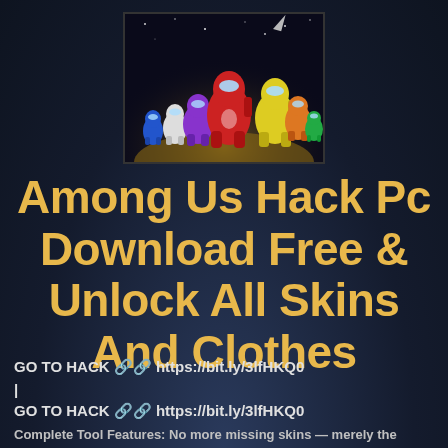[Figure (illustration): Among Us game characters illustration on dark space background with colorful crewmate figures]
Among Us Hack Pc Download Free & Unlock All Skins And Clothes
GO TO HACK 🔗 https://bit.ly/3lfHKQ0
|
GO TO HACK 🔗 https://bit.ly/3lfHKQ0
Complete Tool Features: No more missing skins — merely the...